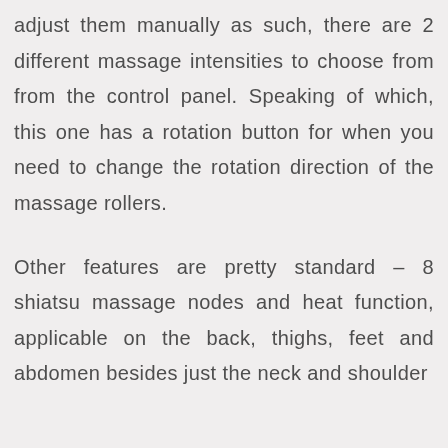adjust them manually as such, there are 2 different massage intensities to choose from from the control panel. Speaking of which, this one has a rotation button for when you need to change the rotation direction of the massage rollers.

Other features are pretty standard – 8 shiatsu massage nodes and heat function, applicable on the back, thighs, feet and abdomen besides just the neck and shoulder